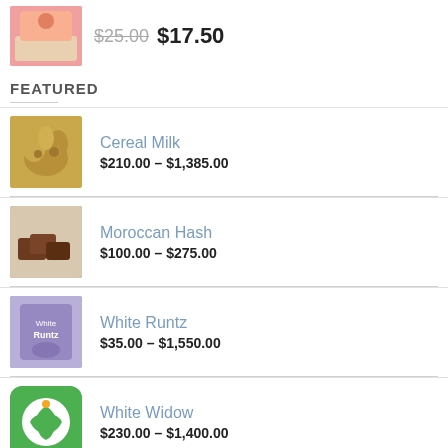$25.00  $17.50
FEATURED
Cereal Milk
$210.00 – $1,385.00
Moroccan Hash
$100.00 – $275.00
White Runtz
$35.00 – $1,550.00
White Widow
$230.00 – $1,400.00